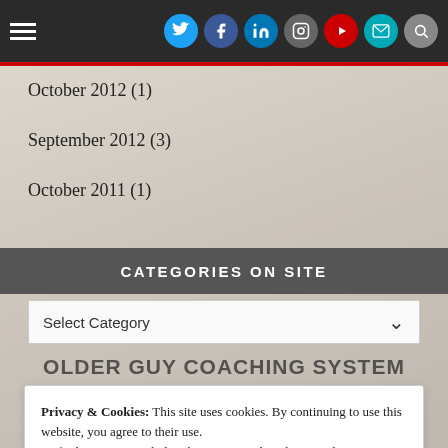Navigation bar with hamburger menu and social icons: Twitter, Facebook, LinkedIn, Instagram, YouTube, Email, Search
October 2012 (1)
September 2012 (3)
October 2011 (1)
CATEGORIES ON SITE
Select Category
OLDER GUY COACHING SYSTEM
Privacy & Cookies: This site uses cookies. By continuing to use this website, you agree to their use.
To find out more, including how to control cookies, see here:
Cookie Policy
Close and accept